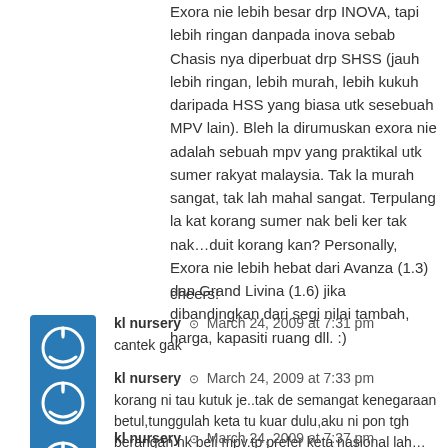Exora nie lebih besar drp INOVA, tapi lebih ringan danpada inova sebab Chasis nya diperbuat drp SHSS (jauh lebih ringan, lebih murah, lebih kukuh daripada HSS yang biasa utk sesebuah MPV lain). Bleh la dirumuskan exora nie adalah sebuah mpv yang praktikal utk sumer rakyat malaysia. Tak la murah sangat, tak lah mahal sangat. Terpulang la kat korang sumer nak beli ker tak nak…duit korang kan? Personally, Exora nie lebih hebat dari Avanza (1.3) dan Grand Livina (1.6) jika dibandingkan dari segi nilai tambah, harga, kapasiti ruang dll. :)
cheers!
kl nursery  March 24, 2009 at 7:31 pm
cantek gak
kl nursery  March 24, 2009 at 7:33 pm
korang ni tau kutuk je..tak de semangat kenegaraan betul,tunggulah keta tu kuar dulu,aku ni pon tgh berangan nk beli mpv.tp prefer keta nasional lah…
kl nursery  March 24, 2009 at 7:37 pm